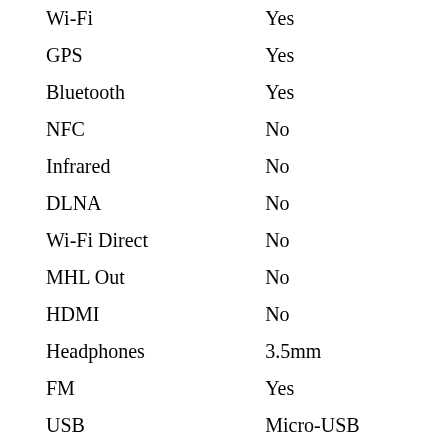| Feature | Value |
| --- | --- |
| Wi-Fi | Yes |
| GPS | Yes |
| Bluetooth | Yes |
| NFC | No |
| Infrared | No |
| DLNA | No |
| Wi-Fi Direct | No |
| MHL Out | No |
| HDMI | No |
| Headphones | 3.5mm |
| FM | Yes |
| USB | Micro-USB |
| Number of SIMs | 2 |
| 3G | Yes |
| Compass/ |  |